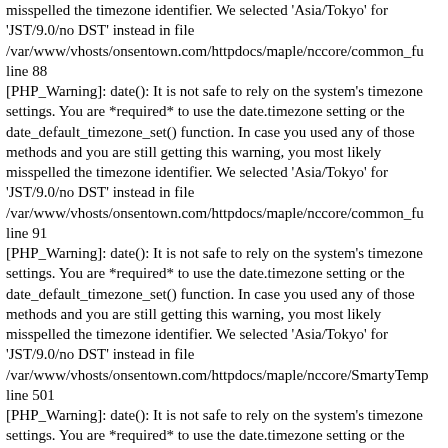misspelled the timezone identifier. We selected 'Asia/Tokyo' for 'JST/9.0/no DST' instead in file /var/www/vhosts/onsentown.com/httpdocs/maple/nccore/common_fu line 88
[PHP_Warning]: date(): It is not safe to rely on the system's timezone settings. You are *required* to use the date.timezone setting or the date_default_timezone_set() function. In case you used any of those methods and you are still getting this warning, you most likely misspelled the timezone identifier. We selected 'Asia/Tokyo' for 'JST/9.0/no DST' instead in file /var/www/vhosts/onsentown.com/httpdocs/maple/nccore/common_fu line 91
[PHP_Warning]: date(): It is not safe to rely on the system's timezone settings. You are *required* to use the date.timezone setting or the date_default_timezone_set() function. In case you used any of those methods and you are still getting this warning, you most likely misspelled the timezone identifier. We selected 'Asia/Tokyo' for 'JST/9.0/no DST' instead in file /var/www/vhosts/onsentown.com/httpdocs/maple/nccore/SmartyTemp line 501
[PHP_Warning]: date(): It is not safe to rely on the system's timezone settings. You are *required* to use the date.timezone setting or the date_default_timezone_set() function. In case you used any of those methods and you are still getting this warning, you most likely misspelled the timezone identifier. We selected 'Asia/Tokyo' for 'JST/9.0/no DST' instead in file